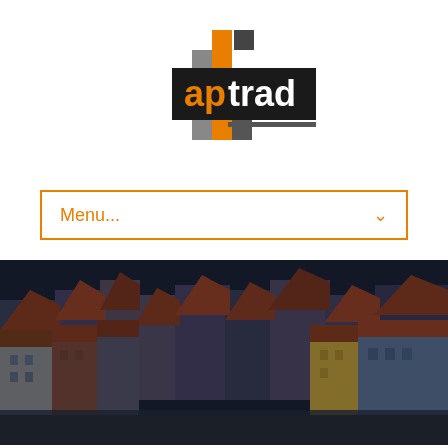[Figure (logo): aptrad logo: black rectangle background with orange 'ap' text and dark 'trad' text, orange and gray pixel/square decorative elements above and below]
[Figure (other): Menu dropdown bar with orange border, 'Menu...' text in orange on left, orange chevron/arrow on right]
[Figure (photo): Panoramic photo of Porto, Portugal riverfront showing colorful traditional buildings with terracotta rooftops, shot at dusk/evening with dark moody tones]